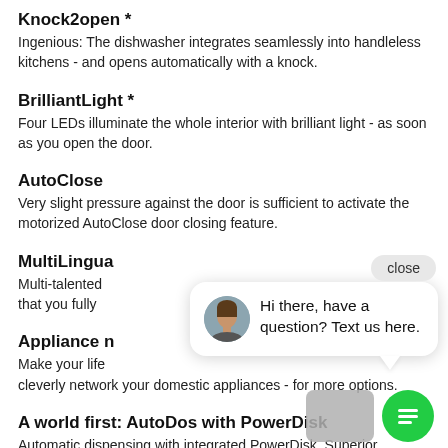Knock2open *
Ingenious: The dishwasher integrates seamlessly into handleless kitchens - and opens automatically with a knock.
BrilliantLight *
Four LEDs illuminate the whole interior with brilliant light - as soon as you open the door.
AutoClose
Very slight pressure against the door is sufficient to activate the motorized AutoClose door closing feature.
MultiLingua
Multi-talented that you fully
Appliance n
Make your life cleverly network your domestic appliances - for more options.
A world first: AutoDos with PowerDisk
Automatic dispensing with integrated PowerDisk. Superior cleaning system, unparalleled freedom!
[Figure (screenshot): Chat popup overlay with close button, avatar photo of a woman, text 'Hi there, have a question? Text us here.', green chat icon button, and grey scroll button.]